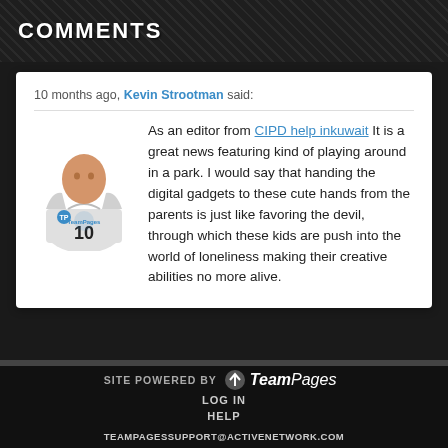COMMENTS
10 months ago, Kevin Strootman said:
As an editor from CIPD help inkuwait It is a great news featuring kind of playing around in a park. I would say that handing the digital gadgets to these cute hands from the parents is just like favoring the devil, through which these kids are push into the world of loneliness making their creative abilities no more alive.
SITE POWERED BY TeamPages
LOG IN
HELP
TEAMPAGESSUPPORT@ACTIVENETWORK.COM